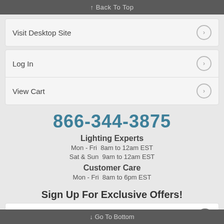↑ Back To Top
Visit Desktop Site
Log In
View Cart
866-344-3875
Lighting Experts
Mon - Fri  8am to 12am EST
Sat & Sun  9am to 12am EST
Customer Care
Mon - Fri  8am to 6pm EST
Sign Up For Exclusive Offers!
Email Address
↓ Go To Bottom